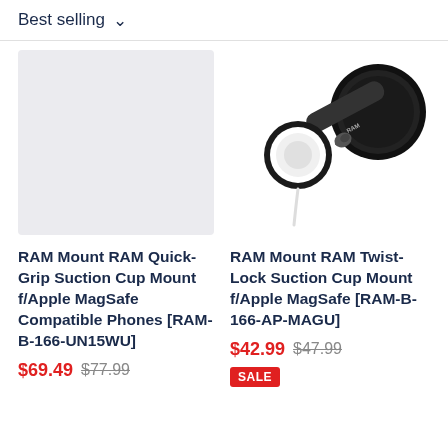Best selling ∨
[Figure (photo): Gray placeholder image for product 1]
[Figure (photo): Photo of RAM Mount RAM Twist-Lock Suction Cup Mount for Apple MagSafe, black device with round white charger pad and suction cup base]
RAM Mount RAM Quick-Grip Suction Cup Mount f/Apple MagSafe Compatible Phones [RAM-B-166-UN15WU]
$69.49  $77.99
RAM Mount RAM Twist-Lock Suction Cup Mount f/Apple MagSafe [RAM-B-166-AP-MAGU]
$42.99  $47.99
SALE